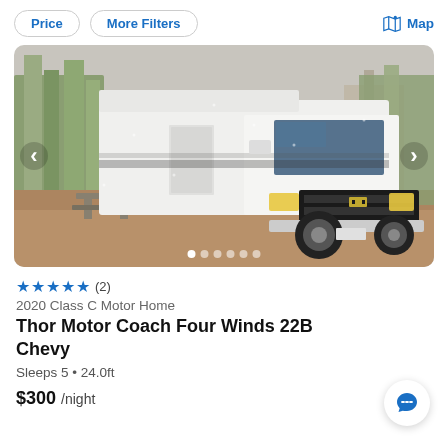Price  More Filters  Map
[Figure (photo): A white 2020 Thor Motor Coach Four Winds 22B Chevy Class C motorhome parked at a campsite with trees in background, front 3/4 view, rainy/overcast weather. Image carousel with left/right arrows and 6 dot indicators at bottom.]
★★★★★ (2)
2020 Class C Motor Home
Thor Motor Coach Four Winds 22B Chevy
Sleeps 5 • 24.0ft
$300 /night